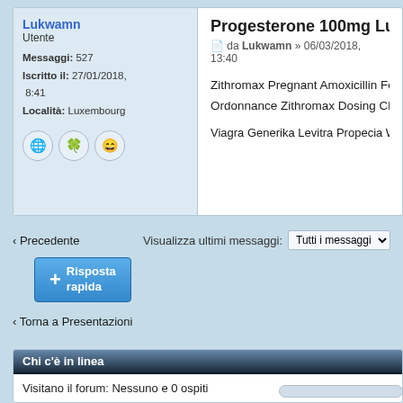Progesterone 100mg Lukwamn
da Lukwamn » 06/03/2018, 13:40
Zithromax Pregnant Amoxicillin For Severe Ear Infection Ordonnance Zithromax Dosing Children Iwant To Bay
Viagra Generika Levitra Propecia Woman Mujeres Y Viagra ciali
Lukwamn
Utente
Messaggi: 527
Iscritto il: 27/01/2018, 8:41
Località: Luxembourg
Visualizza ultimi messaggi: Tutti i messaggi
< Precedente
Risposta rapida
< Torna a Presentazioni
Chi c'è in linea
Visitano il forum: Nessuno e 0 ospiti